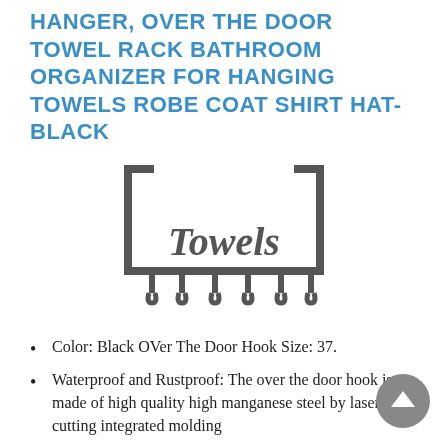HANGER, OVER THE DOOR TOWEL RACK BATHROOM ORGANIZER FOR HANGING TOWELS ROBE COAT SHIRT HAT-BLACK
[Figure (photo): A black metal over-the-door towel rack with decorative 'Towels' script lettering in the center, hooks along the bottom, and hanging brackets at the top.]
Color: Black OVer The Door Hook Size: 37.
Waterproof and Rustproof: The over the door hook is made of high quality high manganese steel by laser cutting integrated molding